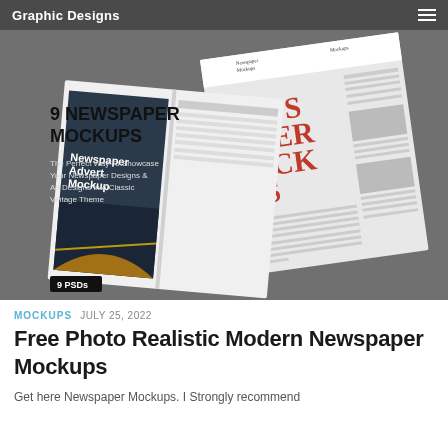Graphic Designs
[Figure (photo): Promotional image for 9 Newspaper Mockups — shows stacked realistic newspaper mockups on a dark grey background, with bold text '9 NEWSPAPER MOCKUPS', subtitle 'The Perfect Way To Showcase Your Newspaper Designs & Ad Designs In A Classic Vintage Theme', and a badge reading '9 PSDs']
MOCKUPS  JULY 25, 2022
Free Photo Realistic Modern Newspaper Mockups
Get here Newspaper Mockups. I Strongly recommend